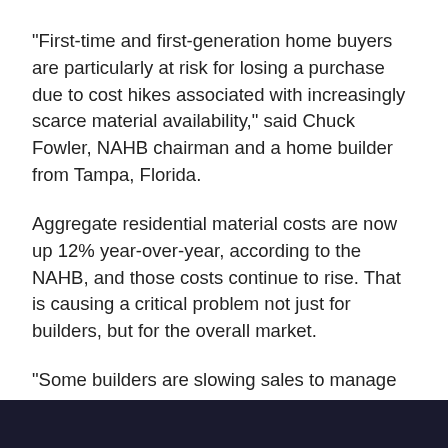“First-time and first-generation home buyers are particularly at risk for losing a purchase due to cost hikes associated with increasingly scarce material availability,” said Chuck Fowler, NAHB chairman and a home builder from Tampa, Florida.
Aggregate residential material costs are now up 12% year-over-year, according to the NAHB, and those costs continue to rise. That is causing a critical problem not just for builders, but for the overall market.
“Some builders are slowing sales to manage their own supply-chains, which means growing affordability challenges for a market in critical need of more inventory,” said Robert Dietz, NAHB’s chief economist. “Homebuyerss